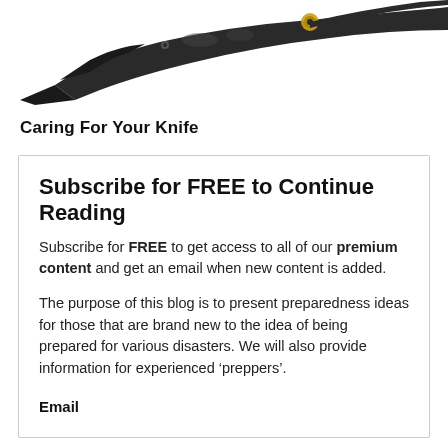[Figure (photo): Partial photo of a multi-tool or pliers with dark metal body and gold/brass accent, shown at top of page, cropped.]
Caring For Your Knife
Subscribe for FREE to Continue Reading
Subscribe for FREE to get access to all of our premium content and get an email when new content is added.
The purpose of this blog is to present preparedness ideas for those that are brand new to the idea of being prepared for various disasters. We will also provide information for experienced ‘preppers’.
Email